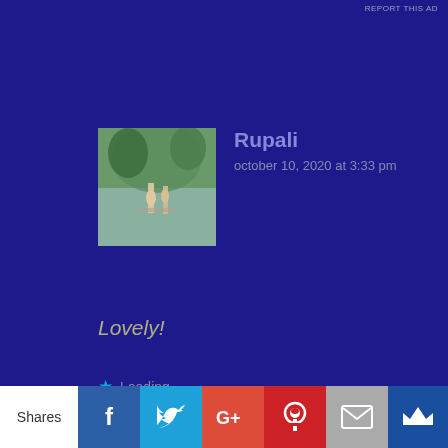REPORT THIS AD
Rupali
october 10, 2020 at 3:33 pm
Lovely!
Loading...
Reply
drjurisharma
october 10, 2020 at 3:33 pm
[Figure (photo): Avatar photo of Rupali showing two people on a tree-lined path]
[Figure (photo): Avatar photo of drjurisharma showing a person outdoors near vehicles]
Shares